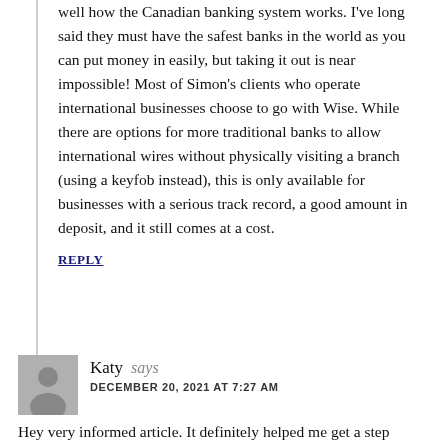well how the Canadian banking system works. I've long said they must have the safest banks in the world as you can put money in easily, but taking it out is near impossible! Most of Simon's clients who operate international businesses choose to go with Wise. While there are options for more traditional banks to allow international wires without physically visiting a branch (using a keyfob instead), this is only available for businesses with a serious track record, a good amount in deposit, and it still comes at a cost.
REPLY
Katy says
DECEMBER 20, 2021 AT 7:27 AM
Hey very informed article. It definitely helped me get a step further. So much information is going all around